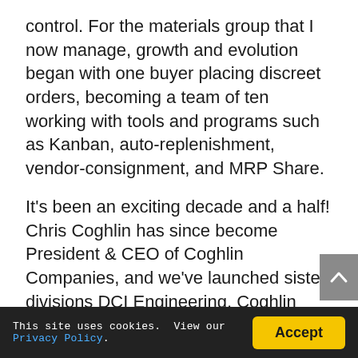control. For the materials group that I now manage, growth and evolution began with one buyer placing discreet orders, becoming a team of ten working with tools and programs such as Kanban, auto-replenishment, vendor-consignment, and MRP Share.
It’s been an exciting decade and a half! Chris Coghlin has since become President & CEO of Coghlin Companies, and we’ve launched sister divisions DCI Engineering, Coghlin Precision and Cogmedix, our medical device contract
This site uses cookies.  View our Privacy Policy.  [Accept]